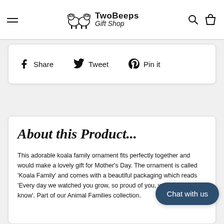TwoBeeps Gift Shop
Share  Tweet  Pin it
About this Product...
This adorable koala family ornament fits perfectly together and would make a lovely gift for Mother's Day. The ornament is called 'Koala Family' and comes with a beautiful packaging which reads 'Every day we watched you grow, so proud of you, we hope you know'. Part of our Animal Families collection.
Chat with us